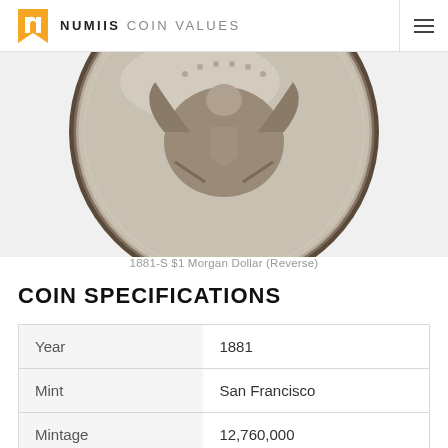NUMIIS COIN VALUES
[Figure (photo): Close-up photograph of the reverse side of an 1881-S Morgan Dollar coin, showing an eagle design with a circular silver coin face and dark toned border against a light grey background.]
1881-S $1 Morgan Dollar (Reverse)
COIN SPECIFICATIONS
| Year | 1881 |
| Mint | San Francisco |
| Mintage | 12,760,000 |